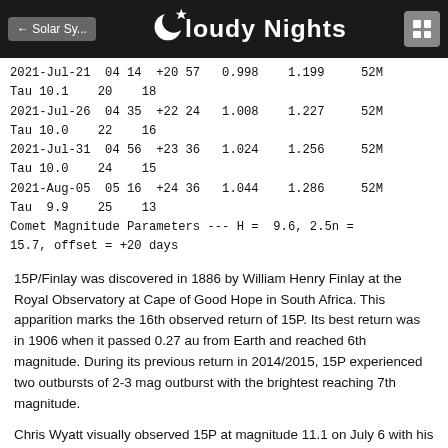← Solar Sy... | Cloudy Nights | [grid icon]
| 2021-Jul-21 | 04 14 | +20 57 | 0.998 | 1.199 | 52M |
| Tau  10.1 | 20 | 18 |  |  |  |
| 2021-Jul-26 | 04 35 | +22 24 | 1.008 | 1.227 | 52M |
| Tau  10.0 | 22 | 16 |  |  |  |
| 2021-Jul-31 | 04 56 | +23 36 | 1.024 | 1.256 | 52M |
| Tau  10.0 | 24 | 15 |  |  |  |
| 2021-Aug-05 | 05 16 | +24 36 | 1.044 | 1.286 | 52M |
| Tau   9.9 | 25 | 13 |  |  |  |
| Comet Magnitude Parameters --- H =  9.6, 2.5n = |  |  |  |  |  |
| 15.7, offset = +20 days |  |  |  |  |  |
15P/Finlay was discovered in 1886 by William Henry Finlay at the Royal Observatory at Cape of Good Hope in South Africa. This apparition marks the 16th observed return of 15P. Its best return was in 1906 when it passed 0.27 au from Earth and reached 6th magnitude. During its previous return in 2014/2015, 15P experienced two outbursts of 2-3 mag outburst with the brightest reaching 7th magnitude.
Chris Wyatt visually observed 15P at magnitude 11.1 on July 6 with his 0.40 m f/4 reflector. The comet had a moderately condensed 2.0'